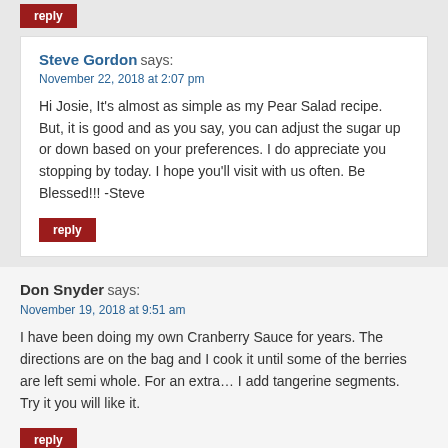reply (button at top)
Steve Gordon says:
November 22, 2018 at 2:07 pm
Hi Josie, It’s almost as simple as my Pear Salad recipe. But, it is good and as you say, you can adjust the sugar up or down based on your preferences. I do appreciate you stopping by today. I hope you’ll visit with us often. Be Blessed!!! -Steve
reply (button under Steve Gordon comment)
Don Snyder says:
November 19, 2018 at 9:51 am
I have been doing my own Cranberry Sauce for years. The directions are on the bag and I cook it until some of the berries are left semi whole. For an extra… I add tangerine segments.
Try it you will like it.
reply (button under Don Snyder comment)